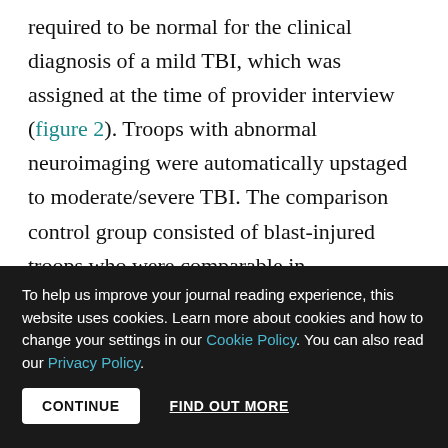required to be normal for the clinical diagnosis of a mild TBI, which was assigned at the time of provider interview (figure 2). Troops with abnormal neuroimaging were automatically upstaged to moderate/severe TBI. The comparison control group consisted of blast-injured troops who were comparable in demographic features and severity of polytrauma to the TBI-positive group. In all cases, initial neuroimaging was performed before the date of the TBI diagnosis and by radiologists who were unaware of the
To help us improve your journal reading experience, this website uses cookies. Learn more about cookies and how to change your settings in our Cookie Policy. You can also read our Privacy Policy.
CONTINUE   FIND OUT MORE